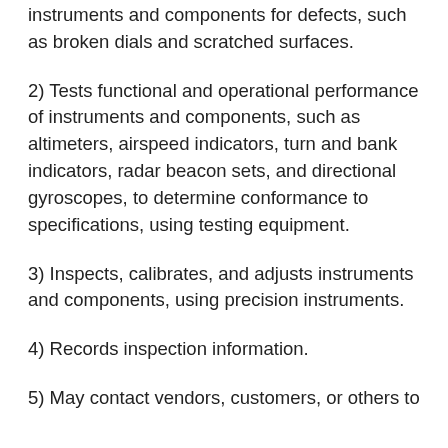instruments and components for defects, such as broken dials and scratched surfaces.
2) Tests functional and operational performance of instruments and components, such as altimeters, airspeed indicators, turn and bank indicators, radar beacon sets, and directional gyroscopes, to determine conformance to specifications, using testing equipment.
3) Inspects, calibrates, and adjusts instruments and components, using precision instruments.
4) Records inspection information.
5) May contact vendors, customers, or others to